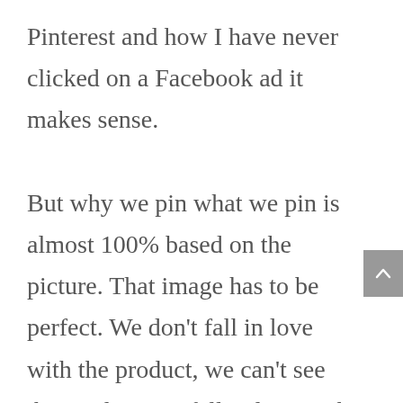Pinterest and how I have never clicked on a Facebook ad it makes sense.

But why we pin what we pin is almost 100% based on the picture. That image has to be perfect. We don't fall in love with the product, we can't see the product, we fall in love with the picture of the product and then we want that to represent our experiences with the product when we buy it. Being a small